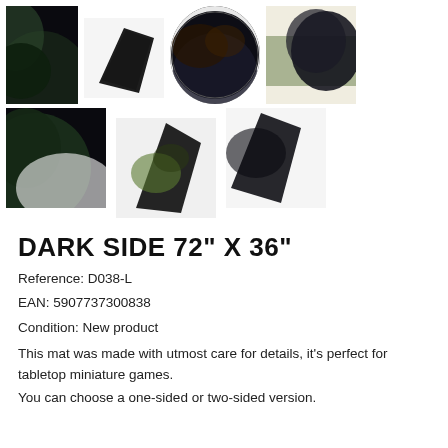[Figure (photo): Grid of 7 product thumbnail images showing a space/earth themed gaming mat called Dark Side, displayed from various angles including flat, folded, and rolled views on white background.]
DARK SIDE 72" X 36"
Reference: D038-L
EAN: 5907737300838
Condition: New product
This mat was made with utmost care for details, it's perfect for tabletop miniature games.
You can choose a one-sided or two-sided version.